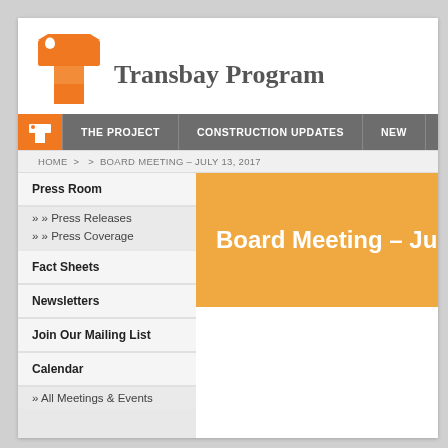[Figure (logo): Transbay Program orange T logo]
Transbay Program
THE PROJECT | CONSTRUCTION UPDATES | NEW...
HOME > > BOARD MEETING – JULY 13, 2017
Press Room
» Press Releases
» Press Coverage
Fact Sheets
Newsletters
Join Our Mailing List
Calendar
» All Meetings & Events
Board Meeting – July 13, 2...